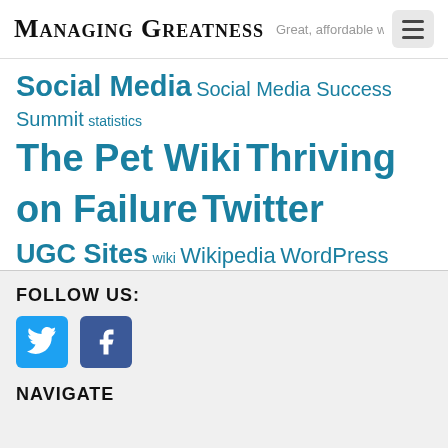Managing Greatness — Great, affordable website
Social Media Social Media Success Summit statistics The Pet Wiki Thriving on Failure Twitter UGC Sites wiki Wikipedia WordPress WYSIWYG editor
ARCHIVES
Select Month
FOLLOW US:
[Figure (other): Twitter and Facebook social media icon buttons]
NAVIGATE